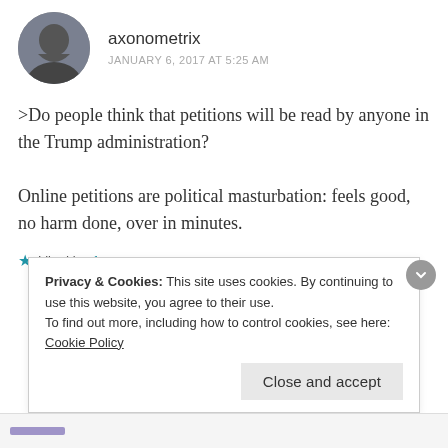axonometrix
JANUARY 6, 2017 AT 5:25 AM
>Do people think that petitions will be read by anyone in the Trump administration?

Online petitions are political masturbation: feels good, no harm done, over in minutes.
★ Liked by 1 person
Privacy & Cookies: This site uses cookies. By continuing to use this website, you agree to their use.
To find out more, including how to control cookies, see here: Cookie Policy
Close and accept